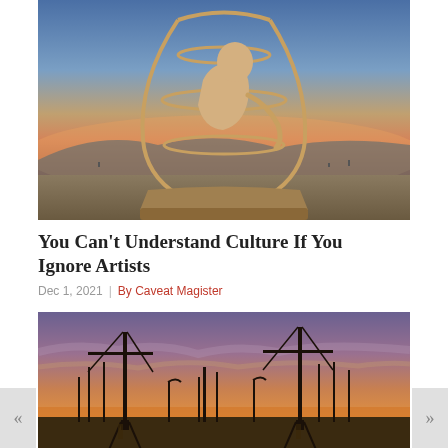[Figure (photo): Large sculpture of a figure bent over inside a globe-like frame, photographed at sunset on a desert playa (Burning Man art installation). Warm orange and pink sky in the background.]
You Can't Understand Culture If You Ignore Artists
Dec 1, 2021  |  By Caveat Magister
[Figure (photo): Silhouettes of tall metal structures (cranes or art installations) against a warm orange and purple sunset sky.]